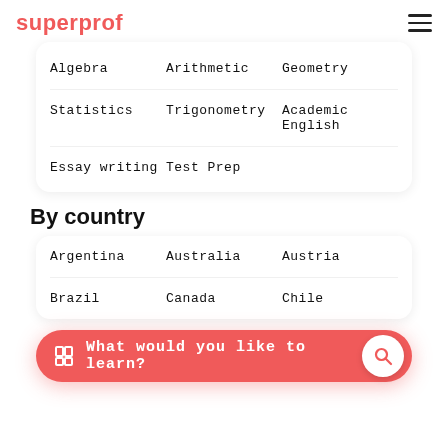superprof
Algebra
Arithmetic
Geometry
Statistics
Trigonometry
Academic English
Essay writing
Test Prep
By country
Argentina
Australia
Austria
Brazil
Canada
Chile
What would you like to learn?